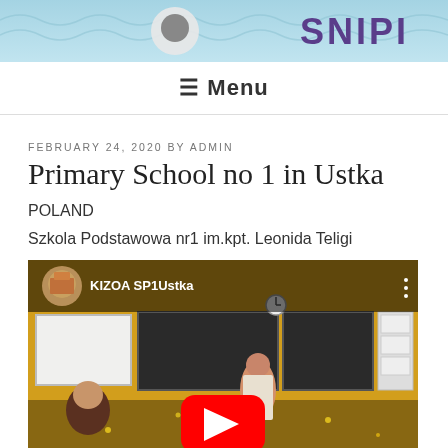SNIPI - school website header logo
≡ Menu
FEBRUARY 24, 2020 BY ADMIN
Primary School no 1 in Ustka
POLAND
Szkola Podstawowa nr1 im.kpt. Leonida Teligi
[Figure (screenshot): YouTube video embed showing a classroom scene with students and a teacher, titled KIZOA SP1Ustka, with a red YouTube play button in the center]